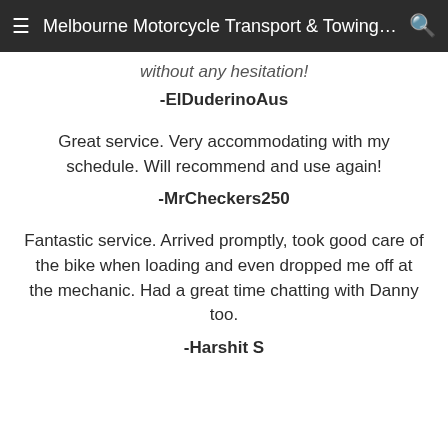Melbourne Motorcycle Transport & Towing - M...
without any hesitation!
-ElDuderinoAus
Great service. Very accommodating with my schedule. Will recommend and use again!
-MrCheckers250
Fantastic service. Arrived promptly, took good care of the bike when loading and even dropped me off at the mechanic. Had a great time chatting with Danny too.
-Harshit S